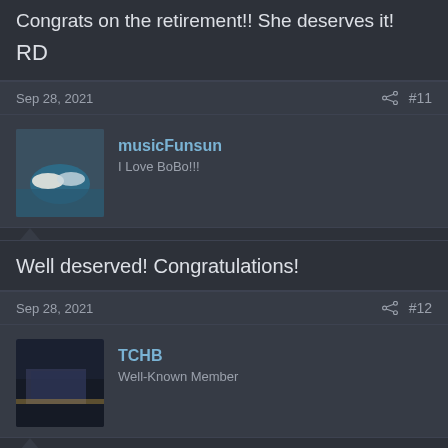Congrats on the retirement!! She deserves it!
RD
Sep 28, 2021   #11
musicFunsun
I Love BoBo!!!
Well deserved! Congratulations!
Sep 28, 2021   #12
TCHB
Well-Known Member
Congratulations time for golf.